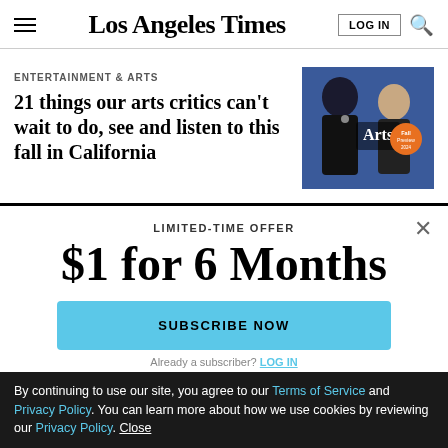Los Angeles Times
ENTERTAINMENT & ARTS
21 things our arts critics can't wait to do, see and listen to this fall in California
[Figure (photo): Two people against a blue background: a woman with microphone and a man, with 'Arts' text overlay and orange circular badge]
LIMITED-TIME OFFER
$1 for 6 Months
SUBSCRIBE NOW
Already a subscriber? LOG IN
By continuing to use our site, you agree to our Terms of Service and Privacy Policy. You can learn more about how we use cookies by reviewing our Privacy Policy. Close